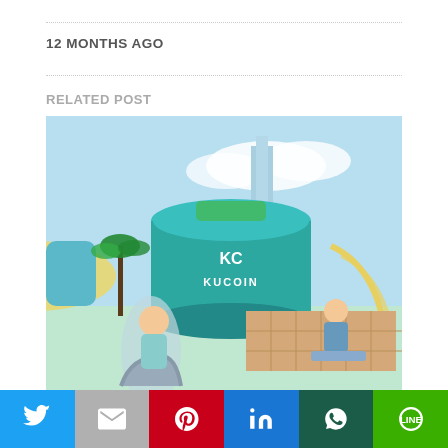12 MONTHS AGO
RELATED POST
[Figure (illustration): Futuristic city scene featuring a large teal cylindrical building with the KuCoin logo and wordmark, anime-style characters in the foreground seated on futuristic chairs, palm trees and skyscrapers in the background.]
This website uses cookies.
Accept